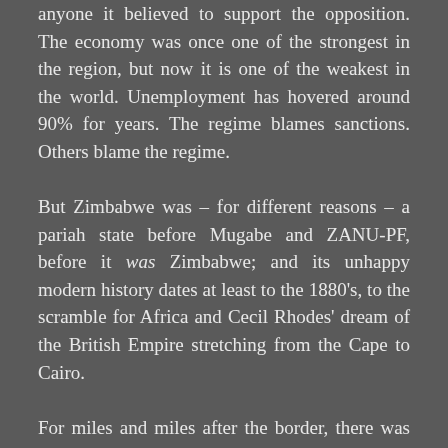anyone it believed to support the opposition. The economy was once one of the strongest in the region, but now it is one of the weakest in the world. Unemployment has hovered around 90% for years. The regime blames sanctions. Others blame the regime.
But Zimbabwe was – for different reasons – a pariah state before Mugabe and ZANU-PF, before it was Zimbabwe; and its unhappy modern history dates at least to the 1880's, to the scramble for Africa and Cecil Rhodes' dream of the British Empire stretching from the Cape to Cairo.
For miles and miles after the border, there was nothing but waist-high yellow grass flecked with red, except for a few generations of car wreck: a Humber from the forties, a Chevrolet from the sixties and others too